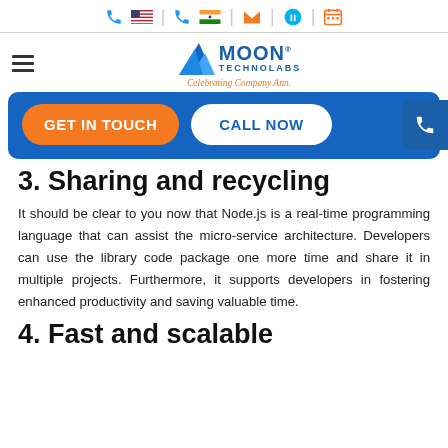Moon Technolabs – Celebrating Company Anniversary
[Figure (logo): Moon Technolabs logo with phone/email/skype icons top bar, hamburger menu, and CTA buttons GET IN TOUCH and CALL NOW]
3. Sharing and recycling
It should be clear to you now that Node.js is a real-time programming language that can assist the micro-service architecture. Developers can use the library code package one more time and share it in multiple projects. Furthermore, it supports developers in fostering enhanced productivity and saving valuable time.
4. Fast and scalable